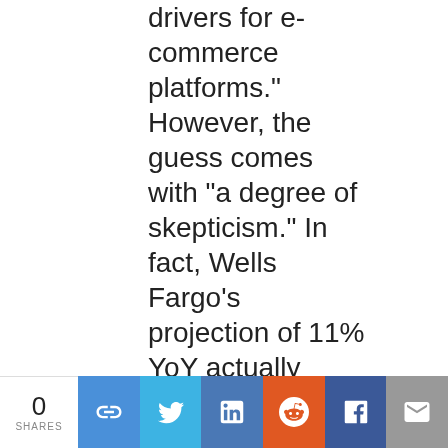drivers for e-commerce platforms." However, the guess comes with "a degree of skepticism." In fact, Wells Fargo's projection of 11% YoY actually factors in a
0 SHARES | share buttons: link, twitter, linkedin, reddit, facebook, email